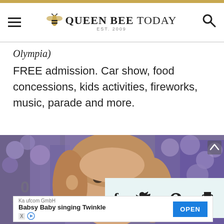QUEEN BEE TODAY EST. 2009
Olympia)
FREE admission. Car show, food concessions, kids activities, fireworks, music, parade and more.
[Figure (photo): Young girl with light brown hair smiling in a field of purple lavender flowers]
0 Shares
[Figure (other): Social sharing bar with Facebook, Twitter, Pinterest, and print icons on light teal background]
[Figure (other): Advertisement banner: Kaufcom GmbH - Babsy Baby singing Twinkle with OPEN button]